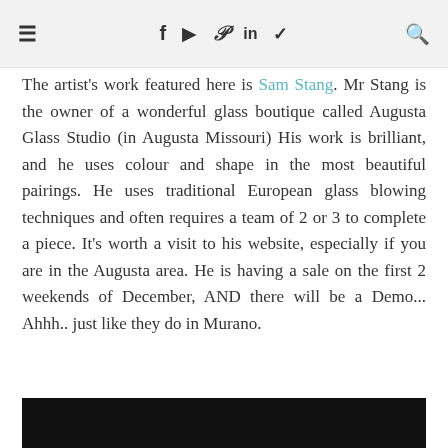≡   f  [instagram]  p  in  [twitter]  [search]
The artist's work featured here is Sam Stang. Mr Stang is the owner of a wonderful glass boutique called Augusta Glass Studio (in Augusta Missouri) His work is brilliant, and he uses colour and shape in the most beautiful pairings. He uses traditional European glass blowing techniques and often requires a team of 2 or 3 to complete a piece. It's worth a visit to his website, especially if you are in the Augusta area. He is having a sale on the first 2 weekends of December, AND there will be a Demo... Ahhh.. just like they do in Murano.
[Figure (photo): Dark/black image strip at the bottom of the page]